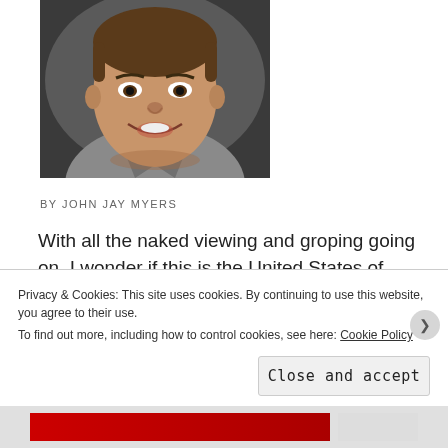[Figure (photo): Close-up photo of a smiling man wearing a grey collared shirt, photographed from slightly above in a dark setting.]
BY JOHN JAY MYERS
With all the naked viewing and groping going on, I wonder if this is the United States of America or the back room of an adult video store.  We have two
Privacy & Cookies: This site uses cookies. By continuing to use this website, you agree to their use.
To find out more, including how to control cookies, see here: Cookie Policy
Close and accept